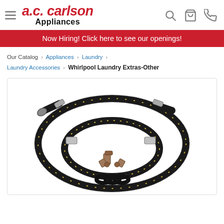a.c. carlson Appliances — navigation header with menu, search, cart, phone icons
Now Hiring! Click here to see our openings!
Our Catalog › Appliances › Laundry › Laundry Accessories › Whirlpool Laundry Extras-Other
[Figure (photo): Product photo of Whirlpool laundry hose kit with black braided hoses coiled in a circle, metal fittings, a Y-connector fitting, and black rubber washers on a white background]